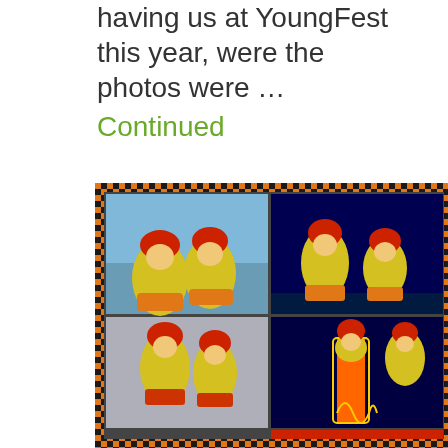thanks to Elinor Haruto for having us at YoungFest this year, were the photos were … Continued
[Figure (photo): A collage of four photos showing performers in colorful orange, yellow, and red lion/bird costumes with face paint, performing at YoungFest. The collage has an orange and black checkerboard border. Top-left shows two performers outdoors against a blue sky building. Top-right shows performers on a dark stage. Bottom-left shows two performers with dramatic lighting. Bottom-right shows a performer in a long flame-patterned costume on stage.]